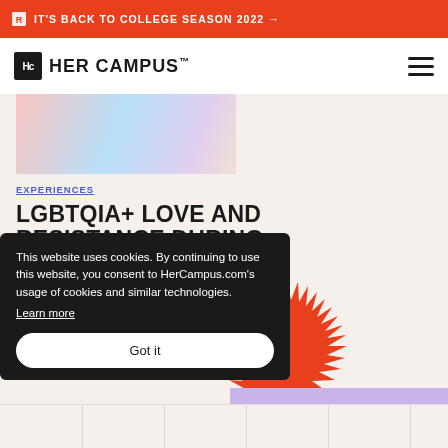IT'S BACK TO COLLEGE SEASON 2022 →
[Figure (logo): Her Campus logo with black H box and bold uppercase text]
[Figure (photo): Partial colorful photo of rainbow/pride themed content]
EXPERIENCES
LGBTQIA+ LOVE AND RESISTANCE DURING PRIDE MONTH
READ MORE →
This website uses cookies. By continuing to use this website, you consent to HerCampus.com's usage of cookies and similar technologies. Learn more
[Figure (illustration): Red starburst/sunburst graphic element]
[Figure (illustration): Purple/lavender rectangular color block area]